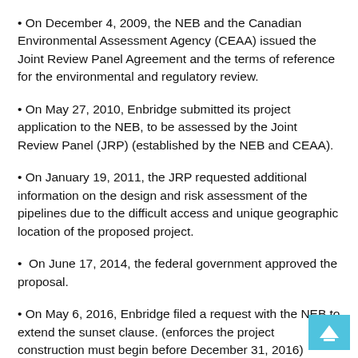On December 4, 2009, the NEB and the Canadian Environmental Assessment Agency (CEAA) issued the Joint Review Panel Agreement and the terms of reference for the environmental and regulatory review.
On May 27, 2010, Enbridge submitted its project application to the NEB, to be assessed by the Joint Review Panel (JRP) (established by the NEB and CEAA).
On January 19, 2011, the JRP requested additional information on the design and risk assessment of the pipelines due to the difficult access and unique geographic location of the proposed project.
On June 17, 2014, the federal government approved the proposal.
On May 6, 2016, Enbridge filed a request with the NEB to extend the sunset clause. (enforces the project construction must begin before December 31, 2016)